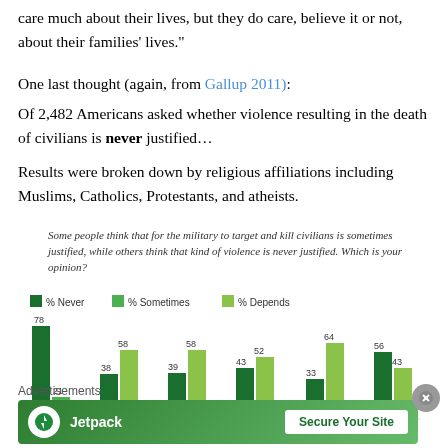care much about their lives, but they do care, believe it or not, about their families' lives."
One last thought (again, from Gallup 2011):
Of 2,482 Americans asked whether violence resulting in the death of civilians is never justified…
Results were broken down by religious affiliations including Muslims, Catholics, Protestants, and atheists.
Some people think that for the military to target and kill civilians is sometimes justified, while others think that kind of violence is never justified. Which is your opinion?
[Figure (grouped-bar-chart): % Never / % Sometimes / % Depends]
Advertisements
[Figure (screenshot): Jetpack advertisement banner: Jetpack logo and 'Secure Your Site' button]